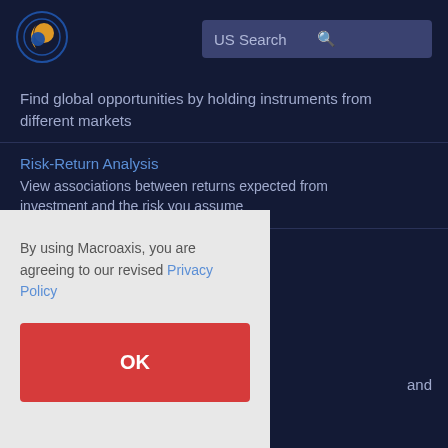[Figure (logo): Macroaxis globe logo — orange and blue circular icon]
US Search
Find global opportunities by holding instruments from different markets
Risk-Return Analysis
View associations between returns expected from investment and the risk you assume
By using Macroaxis, you are agreeing to our revised Privacy Policy
OK
and
ed on
Price Transformation